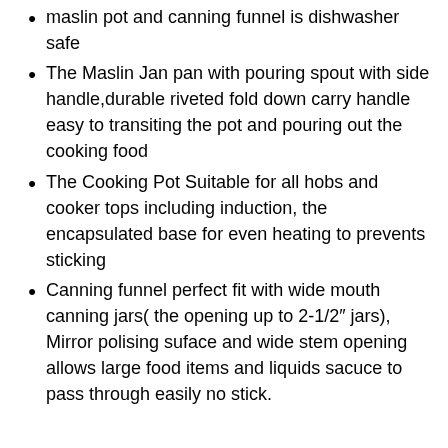maslin pot and canning funnel is dishwasher safe
The Maslin Jan pan with pouring spout with side handle,durable riveted fold down carry handle easy to transiting the pot and pouring out the cooking food
The Cooking Pot Suitable for all hobs and cooker tops including induction, the encapsulated base for even heating to prevents sticking
Canning funnel perfect fit with wide mouth canning jars( the opening up to 2-1/2″ jars), Mirror polising suface and wide stem opening allows large food items and liquids sacuce to pass through easily no stick.